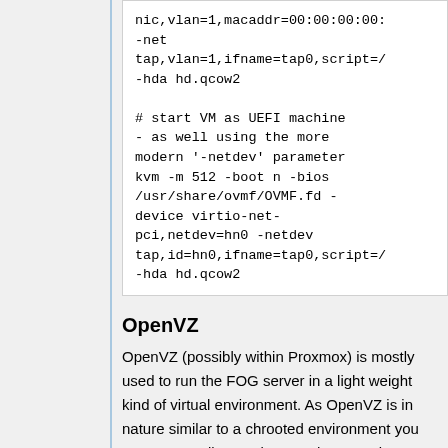nic,vlan=1,macaddr=00:00:00:00
-net
tap,vlan=1,ifname=tap0,script=/
-hda hd.qcow2

# start VM as UEFI machine
- as well using the more
modern '-netdev' parameter
kvm -m 512 -boot n -bios
/usr/share/ovmf/OVMF.fd -
device virtio-net-
pci,netdev=hn0 -netdev
tap,id=hn0,ifname=tap0,script=/
-hda hd.qcow2
OpenVZ
OpenVZ (possibly within Proxmox) is mostly used to run the FOG server in a light weight kind of virtual environment. As OpenVZ is in nature similar to a chrooted environment you cannot actually PXE boot such a container. To